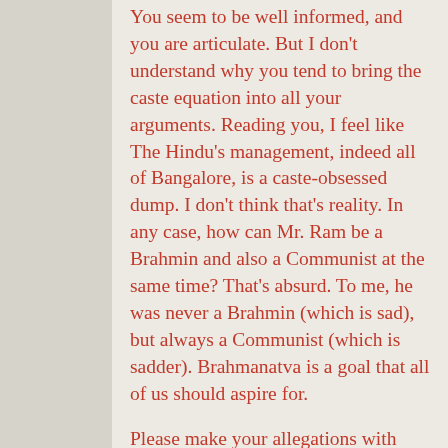You seem to be well informed, and you are articulate. But I don't understand why you tend to bring the caste equation into all your arguments. Reading you, I feel like The Hindu's management, indeed all of Bangalore, is a caste-obsessed dump. I don't think that's reality. In any case, how can Mr. Ram be a Brahmin and also a Communist at the same time? That's absurd. To me, he was never a Brahmin (which is sad), but always a Communist (which is sadder). Brahmanatva is a goal that all of us should aspire for.
Please make your allegations with more evidence — how many applications did The Hindu receive January-March? How many of them were qualified to apply? How many